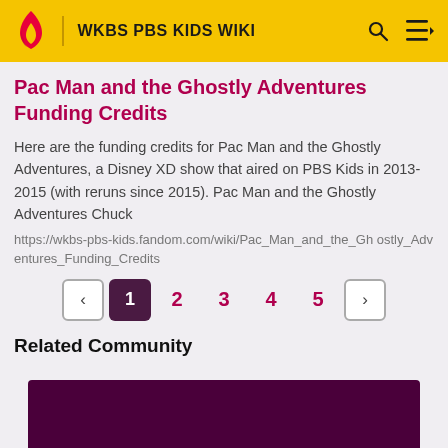WKBS PBS KIDS WIKI
Pac Man and the Ghostly Adventures Funding Credits
Here are the funding credits for Pac Man and the Ghostly Adventures, a Disney XD show that aired on PBS Kids in 2013-2015 (with reruns since 2015). Pac Man and the Ghostly Adventures Chuck
https://wkbs-pbs-kids.fandom.com/wiki/Pac_Man_and_the_Ghostly_Adventures_Funding_Credits
Related Community